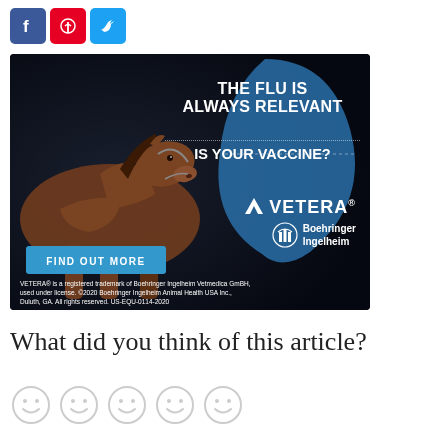[Figure (illustration): Social sharing icons: Facebook (blue), Pinterest (red), Twitter (blue)]
[Figure (photo): Vetera vaccine advertisement on dark background featuring a horse, blue teardrop shape, text 'THE FLU IS ALWAYS RELEVANT / IS YOUR VACCINE?', Vetera and Boehringer Ingelheim logos, 'FIND OUT MORE' button, and legal footnote text.]
What did you think of this article?
[Figure (illustration): Five smiley face emoji icons in a row for article rating]